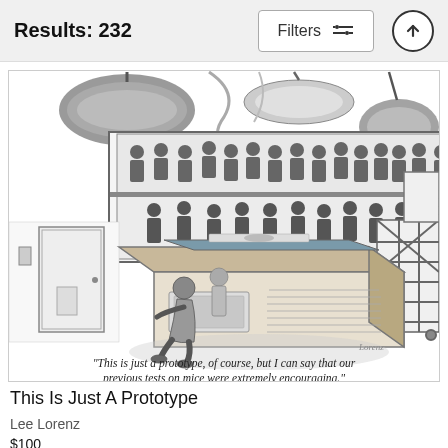Results: 232
[Figure (illustration): A New Yorker-style cartoon by Lee Lorenz showing a scientific laboratory scene. Large overhead lamps hang from the ceiling. A group of observers watch from a raised gallery with glass panels. In the foreground, a large machine or device sits on a platform. A person in a lab coat crouches examining the front of the machine. Various scientific equipment and scaffolding are visible. At the bottom of the cartoon, a caption reads: "This is just a prototype, of course, but I can say that our previous tests on mice were extremely encouraging."]
This Is Just A Prototype
Lee Lorenz
$100